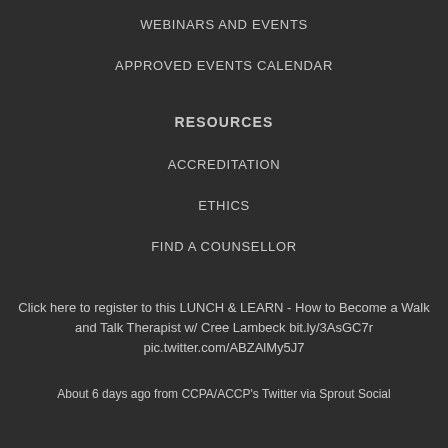WEBINARS AND EVENTS
APPROVED EVENTS CALENDAR
RESOURCES
ACCREDITATION
ETHICS
FIND A COUNSELLOR
Click here to register to this LUNCH & LEARN - How to Become a Walk and Talk Therapist w/ Cree Lambeck bit.ly/3AsGC7r pic.twitter.com/ABZAlMy5J7
About 6 days ago from CCPA/ACCP's Twitter via Sprout Social